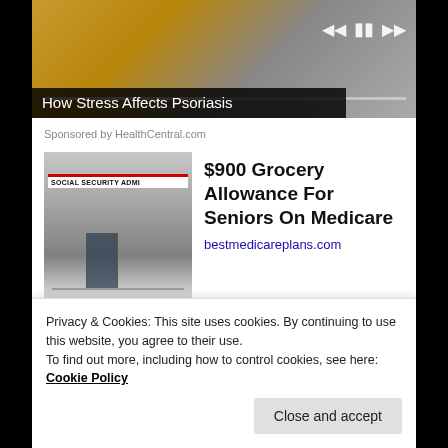[Figure (screenshot): Video player showing a person in yellow shoes/clothing on a couch, with playback controls (prev, pause, next) and a progress bar overlay. Title overlay reads 'How Stress Affects Psoriasis'.]
Sponsored by HealthCentral.com
[Figure (photo): Photo of a Social Security Administration building exterior with signage reading 'SOCIAL SECURITY ADMI...']
$900 Grocery Allowance For Seniors On Medicare
bestmedicareplans.com
[Figure (photo): Photo of a store or pharmacy interior with bokeh lights in the background.]
Sizing Up Your Psoriasis Medicine Cabinet
Privacy & Cookies: This site uses cookies. By continuing to use this website, you agree to their use.
To find out more, including how to control cookies, see here: Cookie Policy
Close and accept